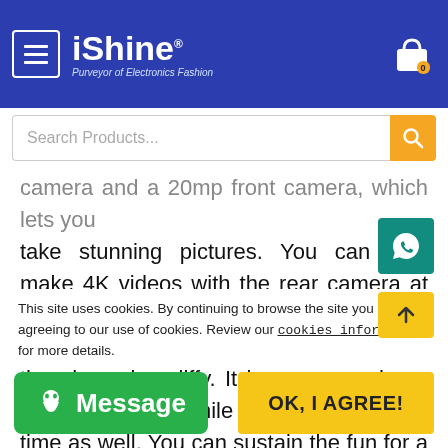iShine® — Purveyor of Electronics Fashion — Search Products...
camera and a 20mp front camera, which lets you take stunning pictures. You can also make 4K videos with the rear camera at 30fps. It also has a rear-mounted fingerprint scanner, which lets you unlock the phone in a jiffy. It keeps your phone and data safe while saving you some time as well. You can sustain the fun for a longer period of time with a
This site uses cookies. By continuing to browse the site you are agreeing to our use of cookies. Review our cookies information for more details.
Message
OK, I AGREE!